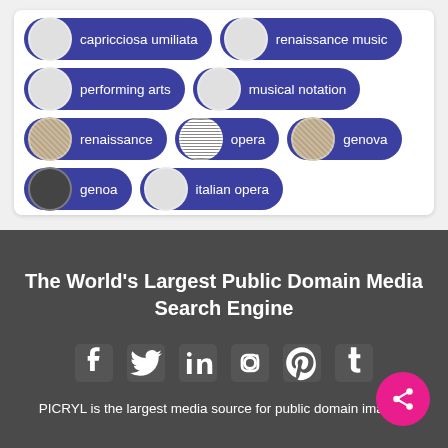[Figure (screenshot): Tag cloud with topic pills on white card background. Tags include: capricciosa umiliata, renaissance music, performing arts, musical notation, renaissance, opera, genova, genoa, italian opera — each shown as a dark blue rounded pill with a circular thumbnail image on the left.]
The World's Largest Public Domain Media Search Engine
[Figure (infographic): Social media icons row: Facebook, Twitter, LinkedIn, Instagram, Pinterest, Tumblr — all white on dark grey background]
PICRYL is the largest media source for public domain images,